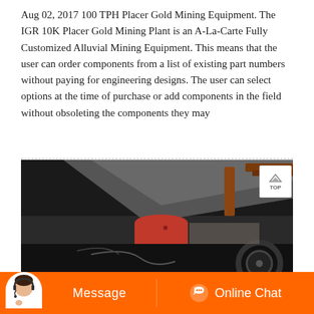Aug 02, 2017 100 TPH Placer Gold Mining Equipment. The IGR 10K Placer Gold Mining Plant is an A-La-Carte Fully Customized Alluvial Mining Equipment. This means that the user can order components from a list of existing part numbers without paying for engineering designs. The user can select options at the time of purchase or add components in the field without obsoleting the components they may
[Figure (photo): Close-up photograph of industrial gold mining equipment showing a red cylindrical component attached to a large dark metal frame/body, with conveyor belt and pulley wheel visible in the background. A 'TOP' navigation button overlay is visible in the upper right corner of the image.]
Message   Online Chat